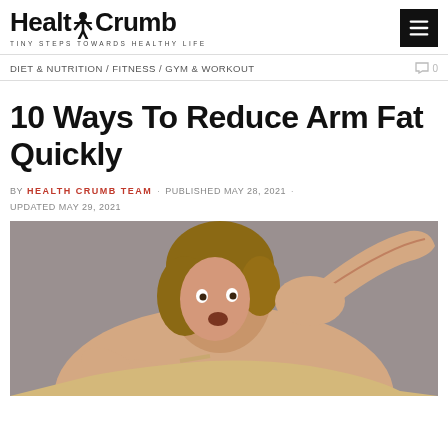[Figure (logo): HealthCrumb logo with stick figure and tagline TINY STEPS TOWARDS HEALTHY LIFE]
DIET & NUTRITION / FITNESS / GYM & WORKOUT   0
10 Ways To Reduce Arm Fat Quickly
BY HEALTH CRUMB TEAM · PUBLISHED MAY 28, 2021 · UPDATED MAY 29, 2021
[Figure (photo): Woman in beige top looking surprised at her arm fat, flexing arm upward against grey background]